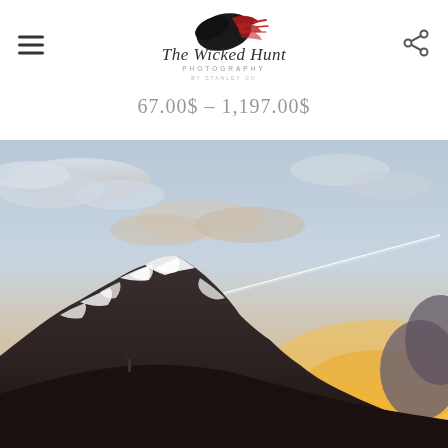The Wicked Hunt Photography by Stanley Go
67.00$ – 1,197.00$
[Figure (photo): Landscape photograph of snow-capped mountain peaks at sunset/dusk with dramatic clouds, an airplane contrail visible in the sky, and warm golden light on the horizon]